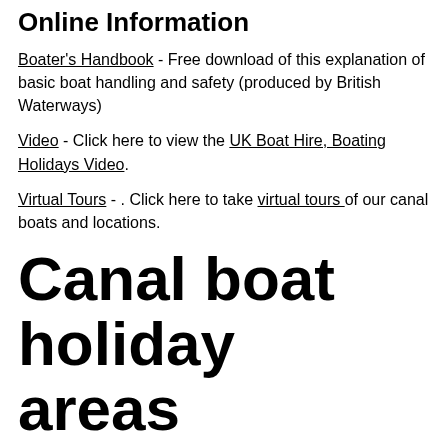Online Information
Boater's Handbook - Free download of this explanation of basic boat handling and safety (produced by British Waterways)
Video - Click here to view the UK Boat Hire, Boating Holidays Video.
Virtual Tours - . Click here to take virtual tours of our canal boats and locations.
Canal boat holiday areas
Choice of Canal Boating